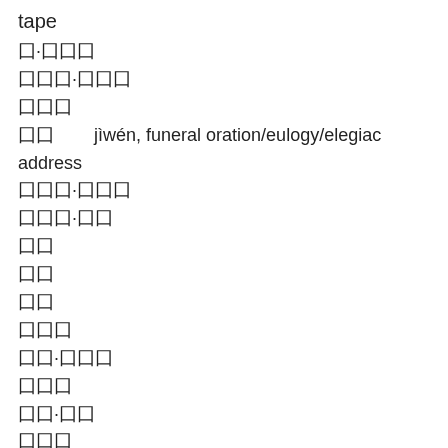tape
囗·囗囗囗
囗囗囗·囗囗囗
囗囗囗
囗囗        jìwén, funeral oration/eulogy/elegiac address
囗囗囗·囗囗囗
囗囗囗·囗囗
囗囗
囗囗
囗囗
囗囗囗
囗囗·囗囗囗
囗囗囗
囗囗·囗囗
囗囗囗
囗囗·囗囗